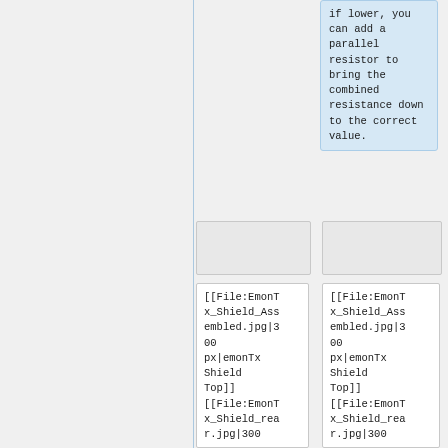if lower, you can add a parallel resistor to bring the combined resistance down to the correct value.
[Figure (other): Empty image placeholder box (left)]
[Figure (other): Empty image placeholder box (right)]
[[File:EmonTx_Shield_Assembled.jpg|300 px|emonTx Shield Top]][[File:EmonTx_Shield_rear.jpg|300
[[File:EmonTx_Shield_Assembled.jpg|300 px|emonTx Shield Top]][[File:EmonTx_Shield_rear.jpg|300